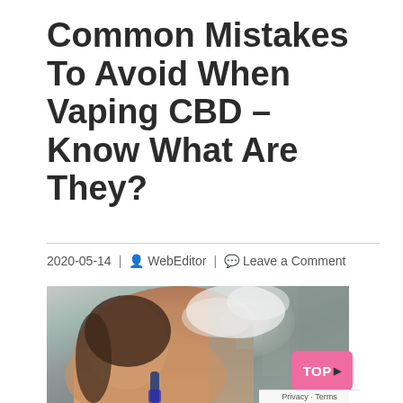Common Mistakes To Avoid When Vaping CBD – Know What Are They?
2020-05-14 | WebEditor | Leave a Comment
[Figure (photo): Young woman vaping, exhaling a cloud of vapor smoke, holding a vape device, photographed outdoors with blurred building in background.]